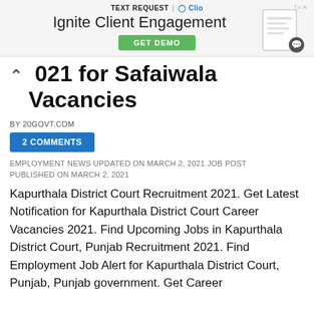[Figure (screenshot): Advertisement banner for Text Request and Clio with headline 'Ignite Client Engagement' and a green 'GET DEMO' button]
021 for Safaiwala Vacancies
BY 20GOVT.COM
2 COMMENTS
EMPLOYMENT NEWS UPDATED ON MARCH 2, 2021 JOB POST PUBLISHED ON MARCH 2, 2021
Kapurthala District Court Recruitment 2021. Get Latest Notification for Kapurthala District Court Career Vacancies 2021. Find Upcoming Jobs in Kapurthala District Court, Punjab Recruitment 2021. Find Employment Job Alert for Kapurthala District Court, Punjab, Punjab government. Get Career